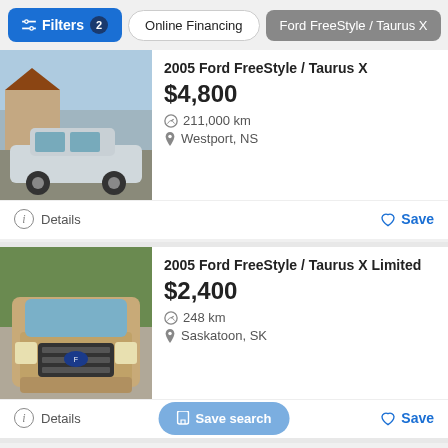Filters | Online Financing | Ford FreeStyle / Taurus X
[Figure (photo): Silver Ford FreeStyle SUV parked in driveway with house in background]
2005 Ford FreeStyle / Taurus X
$4,800
211,000 km
Westport, NS
Details   Save
[Figure (photo): Gold/beige Ford FreeStyle SUV front view in driveway]
2005 Ford FreeStyle / Taurus X Limited
$2,400
248 km
Saskatoon, SK
Details   Save search   Save